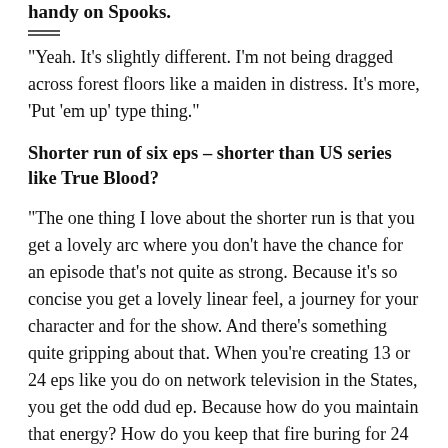handy on Spooks.
“Yeah. It’s slightly different. I’m not being dragged across forest floors like a maiden in distress. It’s more, ‘Put ‘em up’ type thing.”
Shorter run of six eps – shorter than US series like True Blood?
“The one thing I love about the shorter run is that you get a lovely arc where you don’t have the chance for an episode that’s not quite as strong. Because it’s so concise you get a lovely linear feel, a journey for your character and for the show. And there’s something quite gripping about that. When you’re creating 13 or 24 eps like you do on network television in the States, you get the odd dud ep. Because how do you maintain that energy? How do you keep that fire buring for 24 or 13 eps. Luckily Alan Ball (creator and producer) handles True Blood and he’s a genius. So I think it will really serve the show.”